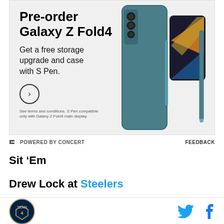[Figure (infographic): Samsung Galaxy Z Fold4 pre-order advertisement. Shows headline 'Pre-order Galaxy Z Fold4', subtext 'Get a free storage upgrade and case with S Pen.', a circular arrow button, fine print about terms, and product image of the phone in a teal case with S Pen.]
POWERED BY CONCERT
FEEDBACK
Sit ‘Em
Drew Lock at Steelers